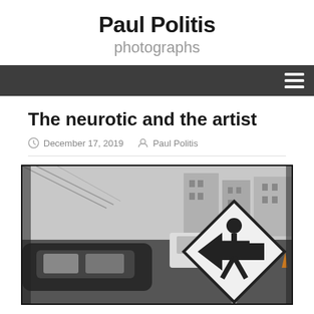Paul Politis photographs
The neurotic and the artist
December 17, 2019  Paul Politis
[Figure (photo): Black and white photograph of urban street scene with cars, a pedestrian crossing sign in the foreground, and city buildings in the background.]